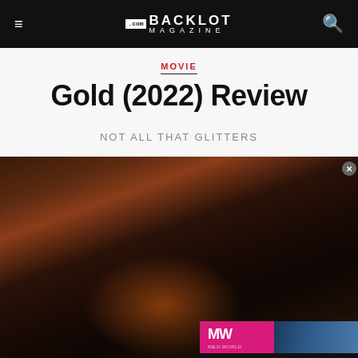BACKLOT MAGAZINE
MOVIE
Gold (2022) Review
NOT ALL THAT GLITTERS
[Figure (photo): Dark atmospheric photo of a figure in desert/wilderness setting with fire glow, overlaid with an Xbox Game Pass August 2022 video ad]
XBOX GAME PASS AUGUST 2022